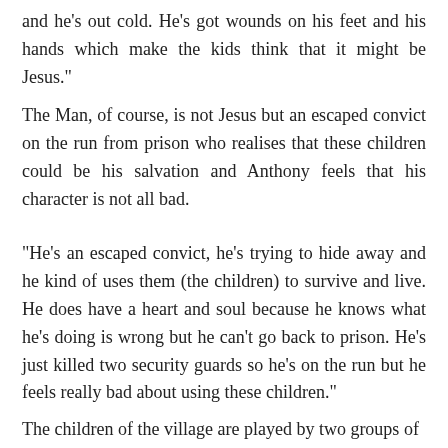and he's out cold. He's got wounds on his feet and his hands which make the kids think that it might be Jesus."
The Man, of course, is not Jesus but an escaped convict on the run from prison who realises that these children could be his salvation and Anthony feels that his character is not all bad.
“He’s an escaped convict, he’s trying to hide away and he kind of uses them (the children) to survive and live. He does have a heart and soul because he knows what he’s doing is wrong but he can’t go back to prison. He’s just killed two security guards so he’s on the run but he feels really bad about using these children.”
The children of the village are played by two groups of